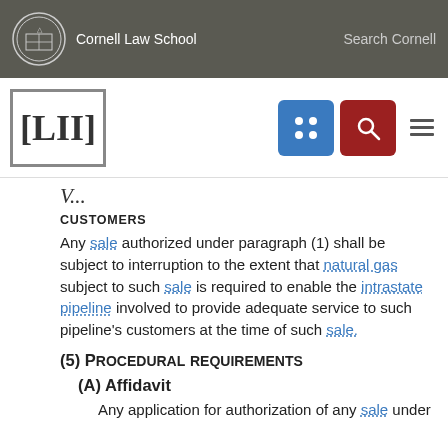Cornell Law School — Search Cornell
[Figure (logo): LII Legal Information Institute logo with Cornell Law School branding and navigation icons]
CUSTOMERS
Any sale authorized under paragraph (1) shall be subject to interruption to the extent that natural gas subject to such sale is required to enable the intrastate pipeline involved to provide adequate service to such pipeline's customers at the time of such sale.
(5) Procedural requirements
(A) Affidavit
Any application for authorization of any sale under